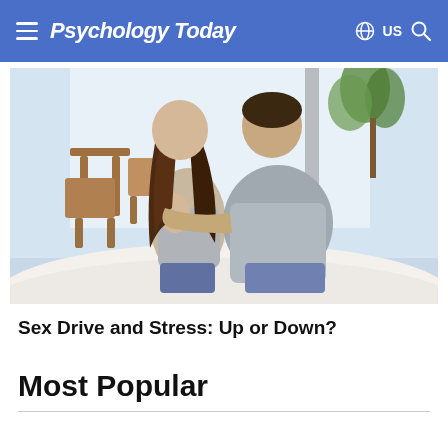Psychology Today  US
[Figure (photo): A couple sitting together on a bed from behind, the man with his arm around the woman, with outdoor furniture visible through a window in the background.]
Sex Drive and Stress: Up or Down?
Most Popular